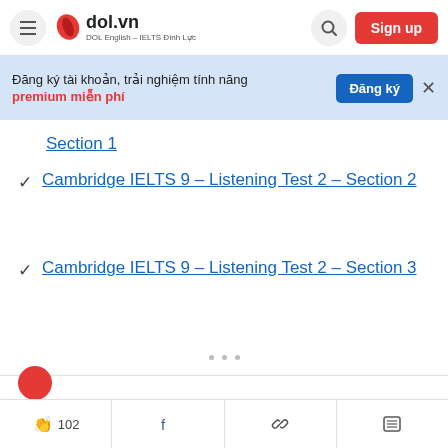dol.vn DOL English - IELTS Dinh Luc
Đăng ký tài khoản, trải nghiệm tính năng premium miễn phí
Section 1
Cambridge IELTS 9 - Listening Test 2 - Section 2
Cambridge IELTS 9 - Listening Test 2 - Section 3
102 (clap icon) | Facebook | Link | List